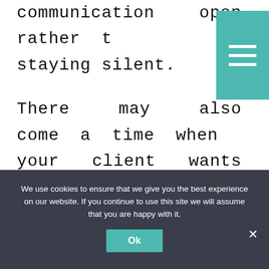communication open rather than staying silent.
There may also come a time when your client wants details about the latest project they have for you. Without great communication skills, your virtual assistant business will
[Figure (other): Teal hamburger menu button in the top-right corner with three white horizontal bars]
We use cookies to ensure that we give you the best experience on our website. If you continue to use this site we will assume that you are happy with it.